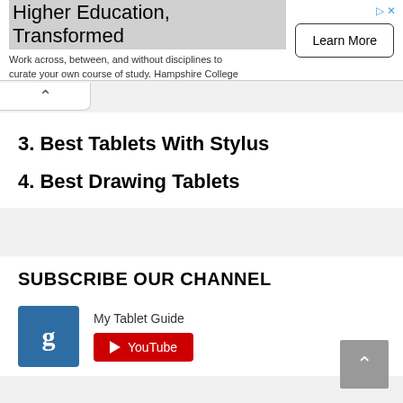[Figure (other): Advertisement banner for Hampshire College - Higher Education, Transformed with Learn More button]
3. Best Tablets With Stylus
4. Best Drawing Tablets
SUBSCRIBE OUR CHANNEL
[Figure (logo): My Tablet Guide YouTube channel logo icon - blue square with stylized g letter, with YouTube subscribe button]
My Tablet Guide